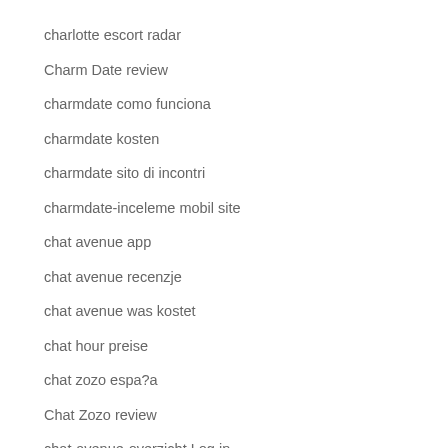charlotte escort radar
Charm Date review
charmdate como funciona
charmdate kosten
charmdate sito di incontri
charmdate-inceleme mobil site
chat avenue app
chat avenue recenzje
chat avenue was kostet
chat hour preise
chat zozo espa?a
Chat Zozo review
chat-avenue-overzicht Log in
chat-zozo-overzicht Zoeken
chatango gratis